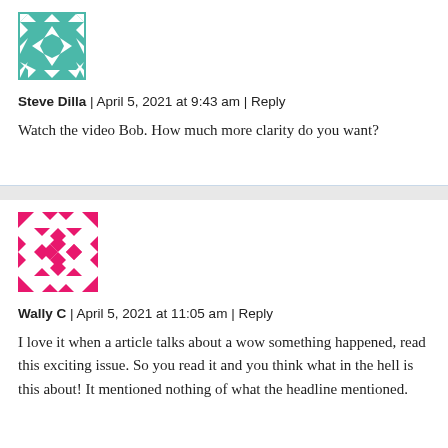[Figure (illustration): Teal/green geometric quilt-pattern avatar icon for Steve Dilla]
Steve Dilla | April 5, 2021 at 9:43 am | Reply
Watch the video Bob. How much more clarity do you want?
[Figure (illustration): Pink/magenta geometric quilt-pattern avatar icon for Wally C]
Wally C | April 5, 2021 at 11:05 am | Reply
I love it when a article talks about a wow something happened, read this exciting issue. So you read it and you think what in the hell is this about! It mentioned nothing of what the headline mentioned.